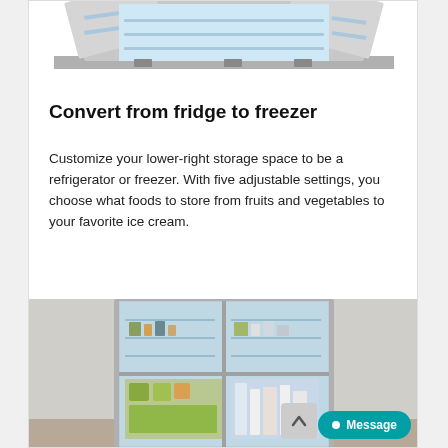[Figure (photo): Top portion of a French door refrigerator with doors open, showing interior shelves, cropped at the top of the page]
Convert from fridge to freezer
Customize your lower-right storage space to be a refrigerator or freezer. With five adjustable settings, you choose what foods to store from fruits and vegetables to your favorite ice cream.
[Figure (photo): French door refrigerator with all four doors open showing shelves filled with food and beverages, kitchen background visible]